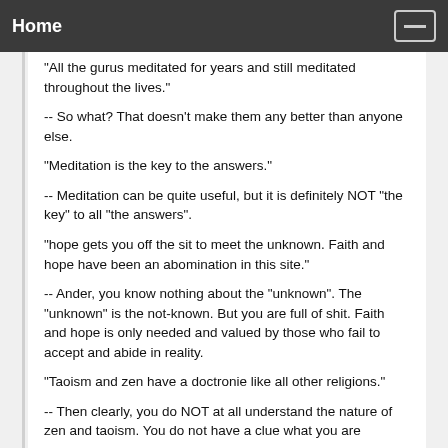Home
"All the gurus meditated for years and still meditated throughout the lives."
-- So what? That doesn't make them any better than anyone else.
"Meditation is the key to the answers."
-- Meditation can be quite useful, but it is definitely NOT "the key" to all "the answers".
"hope gets you off the sit to meet the unknown. Faith and hope have been an abomination in this site."
-- Ander, you know nothing about the "unknown". The "unknown" is the not-known. But you are full of shit. Faith and hope is only needed and valued by those who fail to accept and abide in reality.
"Taoism and zen have a doctronie like all other religions."
-- Then clearly, you do NOT at all understand the nature of zen and taoism. You do not have a clue what you are